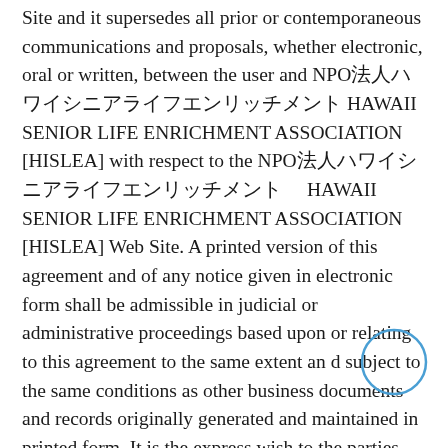Site and it supersedes all prior or contemporaneous communications and proposals, whether electronic, oral or written, between the user and NPO法人ハワイシニアライフエンリッチメント HAWAII SENIOR LIFE ENRICHMENT ASSOCIATION [HISLEA] with respect to the NPO法人ハワイシニアライフエンリッチメント　 HAWAII SENIOR LIFE ENRICHMENT ASSOCIATION [HISLEA] Web Site. A printed version of this agreement and of any notice given in electronic form shall be admissible in judicial or administrative proceedings based upon or relating to this agreement to the same extent an d subject to the same conditions as other business documents and records originally generated and maintained in printed form. It is the express wish to the parties that this agreement and all related documents be drawn up in English.